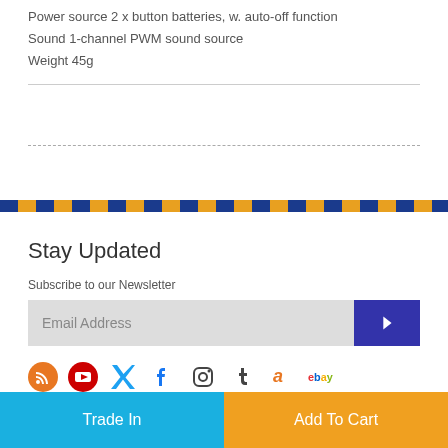Power source 2 x button batteries, w. auto-off function
Sound 1-channel PWM sound source
Weight 45g
Stay Updated
Subscribe to our Newsletter
Email Address
Trade In | Add To Cart